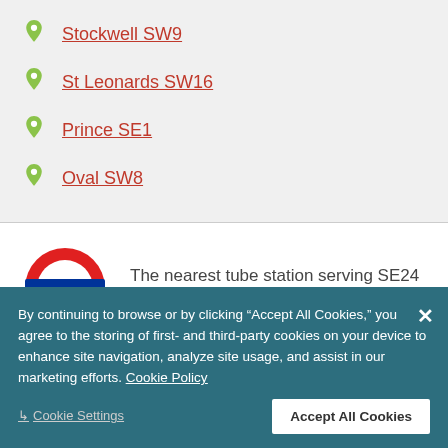Stockwell SW9
St Leonards SW16
Prince SE1
Oval SW8
The nearest tube station serving SE24 Herne Hill is Brixton.
By continuing to browse or by clicking “Accept All Cookies,” you agree to the storing of first- and third-party cookies on your device to enhance site navigation, analyze site usage, and assist in our marketing efforts. Cookie Policy